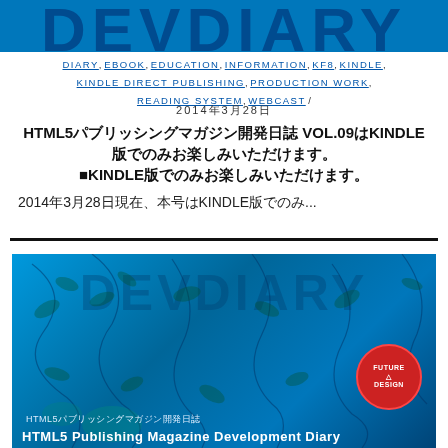DEVDIARY
DIARY, EBOOK, EDUCATION, INFORMATION, KF8, KINDLE, KINDLE DIRECT PUBLISHING, PRODUCTION WORK, READING SYSTEM, WEBCAST / 2014年3月28日
HTML5パブリッシングマガジン開発日誌 VOL.09はKINDLE版でのみお楽しみいただけます。
2014年3月28日現在、本号はKINDLE版でのみ...
[Figure (illustration): Book cover for HTML5 Publishing Magazine Development Diary, showing DEVDIARY watermark text over blue background with leaf patterns, red circular FUTURE DESIGN badge, Japanese subtitle HTML5パブリッシングマガジン開発日誌, and English subtitle HTML5 Publishing Magazine Development Diary]